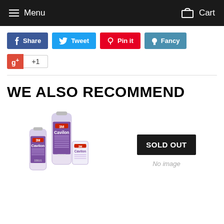Menu  Cart
Share  Tweet  Pin it  Fancy
g+ +1
WE ALSO RECOMMEND
[Figure (photo): 3M Cavilon Durable Barrier Cream product tubes (3391G and 3392G)]
SOLD OUT
No image